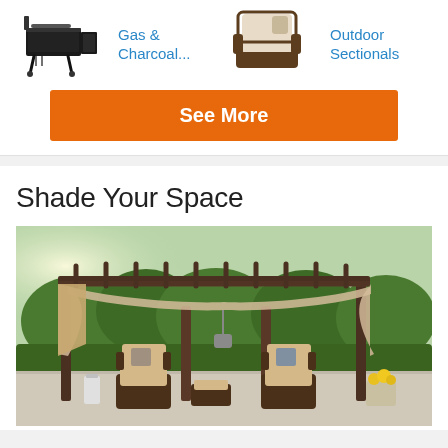[Figure (illustration): Black gas and charcoal combo grill on wheels]
Gas & Charcoal...
[Figure (illustration): Outdoor wicker sectional chair with beige cushion]
Outdoor Sectionals
See More
Shade Your Space
[Figure (photo): Outdoor pergola with retractable shade canopy, wicker furniture set with beige cushions, surrounded by lush green trees and shrubs]